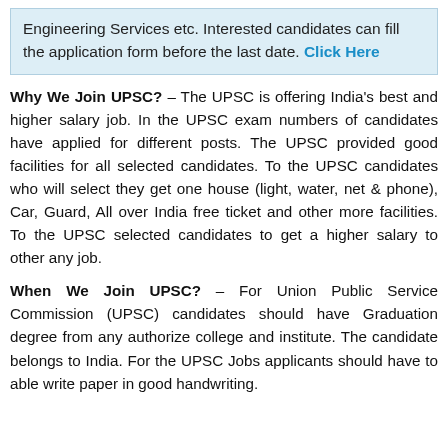Engineering Services etc. Interested candidates can fill the application form before the last date. Click Here
Why We Join UPSC? – The UPSC is offering India's best and higher salary job. In the UPSC exam numbers of candidates have applied for different posts. The UPSC provided good facilities for all selected candidates. To the UPSC candidates who will select they get one house (light, water, net & phone), Car, Guard, All over India free ticket and other more facilities. To the UPSC selected candidates to get a higher salary to other any job.
When We Join UPSC? – For Union Public Service Commission (UPSC) candidates should have Graduation degree from any authorize college and institute. The candidate belongs to India. For the UPSC Jobs applicants should have to able write paper in good handwriting.